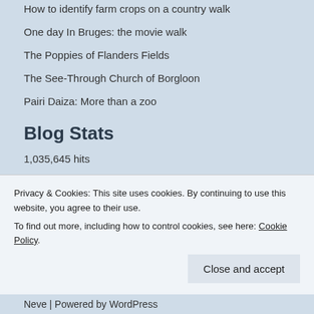How to identify farm crops on a country walk
One day In Bruges: the movie walk
The Poppies of Flanders Fields
The See-Through Church of Borgloon
Pairi Daiza: More than a zoo
Blog Stats
1,035,645 hits
Recent Posts
“Golden” by James Kelly
Belgian Football Quiz...
Privacy & Cookies: This site uses cookies. By continuing to use this website, you agree to their use.
To find out more, including how to control cookies, see here: Cookie Policy
Close and accept
Neve | Powered by WordPress